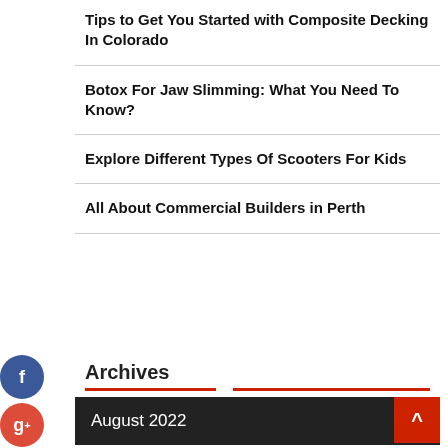Tips to Get You Started with Composite Decking In Colorado
Botox For Jaw Slimming: What You Need To Know?
Explore Different Types Of Scooters For Kids
All About Commercial Builders in Perth
Archives
August 2022